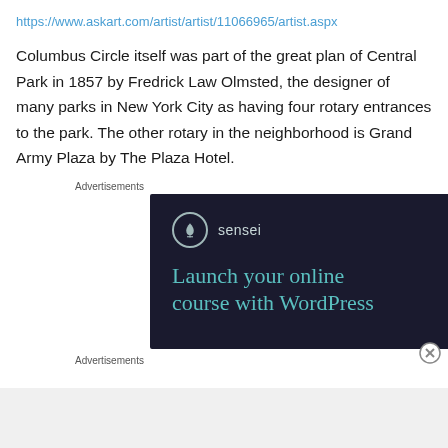https://www.askart.com/artist/artist/11066965/artist.aspx
Columbus Circle itself was part of the great plan of Central Park in 1857 by Fredrick Law Olmsted, the designer of many parks in New York City as having four rotary entrances to the park. The other rotary in the neighborhood is Grand Army Plaza by The Plaza Hotel.
Advertisements
[Figure (screenshot): Advertisement banner for Sensei plugin with dark navy background. Shows the Sensei logo (circle with tree icon) followed by brand name 'sensei' in gray, and large teal text reading 'Launch your online course with WordPress']
Advertisements